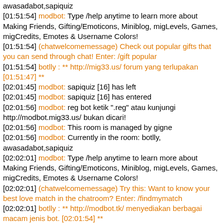awasadabot,sapiquiz
[01:51:54] modbot: Type /help anytime to learn more about Making Friends, Gifting/Emoticons, Miniblog, migLevels, Games, migCredits, Emotes & Username Colors!
[01:51:54] (chatwelcomemessage) Check out popular gifts that you can send through chat! Enter: /gift popular
[01:51:54] botlly : ** http://mig33.us/ forum yang terlupakan [01:51:47] **
[02:01:45] modbot: sapiquiz [16] has left
[02:01:45] modbot: sapiquiz [16] has entered
[02:01:56] modbot: reg bot ketik ".reg" atau kunjungi http://modbot.mig33.us/ bukan dicari!
[02:01:56] modbot: This room is managed by gigne
[02:01:56] modbot: Currently in the room: botlly, awasadabot,sapiquiz
[02:02:01] modbot: Type /help anytime to learn more about Making Friends, Gifting/Emoticons, Miniblog, migLevels, Games, migCredits, Emotes & Username Colors!
[02:02:01] (chatwelcomemessage) Try this: Want to know your best love match in the chatroom? Enter: /findmymatch
[02:02:01] botlly : ** http://modbot.tk/ menyediakan berbagai macam jenis bot. [02:01:54] **
[02:12:02] modbot: reg bot ketik ".reg" atau kunjungi